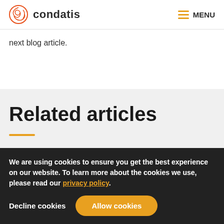condatis  MENU
next blog article.
Related articles
We are using cookies to ensure you get the best experience on our website. To learn more about the cookies we use, please read our privacy policy.
Decline cookies  Allow cookies